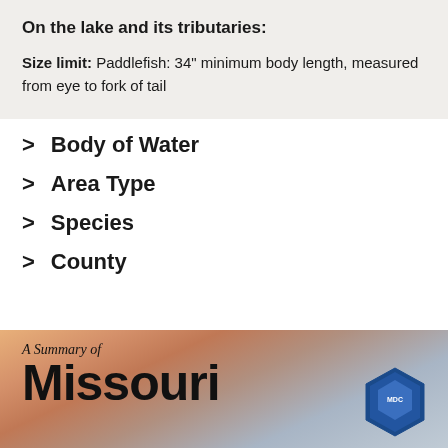On the lake and its tributaries:
Size limit: Paddlefish: 34" minimum body length, measured from eye to fork of tail
> Body of Water
> Area Type
> Species
> County
[Figure (photo): Sunset/twilight sky background with text overlay reading 'A Summary of Missouri' and a conservation department shield logo on the right]